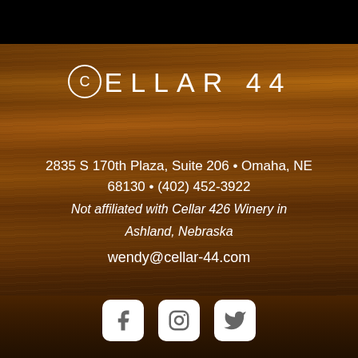[Figure (logo): Cellar 44 logo with circular C mark and spaced letters CELLAR 44 in white on wood background]
2835 S 170th Plaza, Suite 206 • Omaha, NE 68130 • (402) 452-3922
Not affiliated with Cellar 426 Winery in Ashland, Nebraska
wendy@cellar-44.com
[Figure (infographic): Three social media icons: Facebook, Instagram, Twitter in white rounded square buttons]